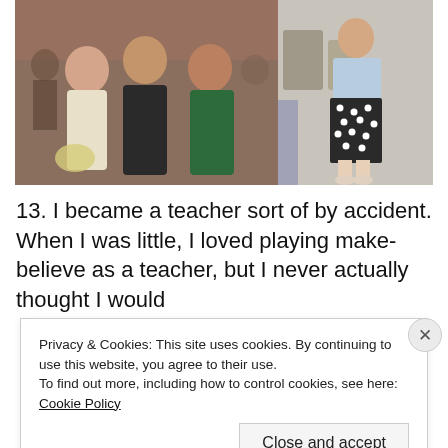[Figure (photo): Two photos side by side. Left photo: three young women in formal dresses (white, black, green) posing together at what appears to be a formal event with brick wall background. Right photo: a person standing in a room wearing a polka dot skirt and light blue top.]
13. I became a teacher sort of by accident. When I was little, I loved playing make-believe as a teacher, but I never actually thought I would
Privacy & Cookies: This site uses cookies. By continuing to use this website, you agree to their use.
To find out more, including how to control cookies, see here: Cookie Policy
Close and accept